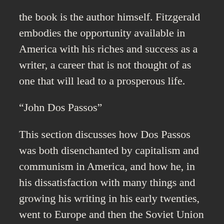the book is the author himself. Fitzgerald embodies the opportunity available in America with his riches and success as a writer, a career that is not thought of as one that will lead to a prosperous life.
“John Dos Passos”
This section discusses how Dos Passos was both disenchanted by capitalism and communism in America, and how he, in his dissatisfaction with many things and growing his writing in his early twenties, went to Europe and then the Soviet Union and found a fellow writer who shared his ideas about how to structure his work. The rest of the section is dedicated to discussing the structure of the